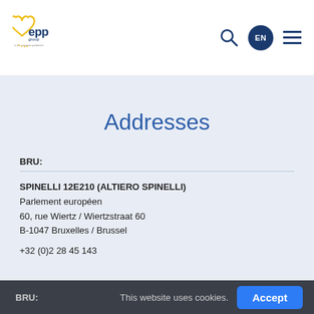[Figure (logo): EPP Group logo — stylized heart shape in yellow with 'epp group' text in dark blue, tagline below]
Addresses
BRU:
SPINELLI 12E210 (ALTIERO SPINELLI)
Parlement européen
60, rue Wiertz / Wiertzstraat 60
B-1047 Bruxelles / Brussel

+32 (0)2 28 45 143
BRU:
This website uses cookies.